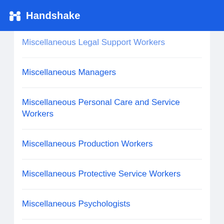Handshake
Miscellaneous Legal Support Workers
Miscellaneous Managers
Miscellaneous Personal Care and Service Workers
Miscellaneous Production Workers
Miscellaneous Protective Service Workers
Miscellaneous Psychologists
Miscellaneous Social Scientists and Related Workers